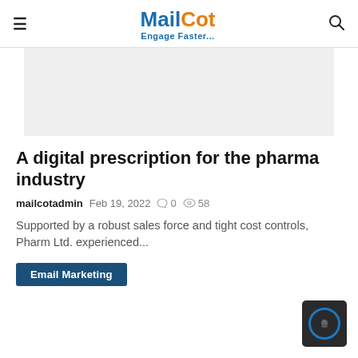MailCot Engage Faster...
[Figure (other): Light gray banner/advertisement placeholder area]
A digital prescription for the pharma industry
mailcotadmin  Feb 19, 2022  0  58
Supported by a robust sales force and tight cost controls, Pharm Ltd. experienced...
Email Marketing